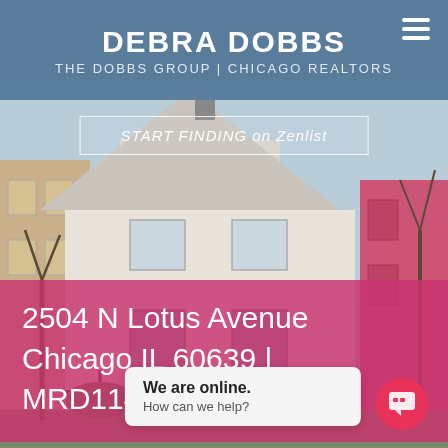DEBRA DOBBS
THE DOBBS GROUP | CHICAGO REALTORS
[Figure (photo): Exterior photo of a two-story white/cream sided house with gray doors at 2504 N Lotus Avenue, Chicago. Bare trees visible, neighboring pink building to the right, iron fence in foreground.]
START FINDING on Zenlist
2504 N Lotus Avenue
Chicago IL 60639 |
MRD11479524
We are online.
How can we help?